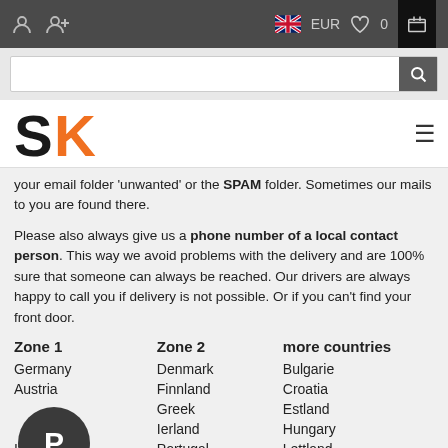SK shop navigation bar with user icons, EUR currency, UK flag, wishlist, cart
[Figure (logo): SK logo with S in black and K in orange]
your email folder 'unwanted' or the SPAM folder. Sometimes our mails to you are found there.
Please also always give us a phone number of a local contact person. This way we avoid problems with the delivery and are 100% sure that someone can always be reached. Our drivers are always happy to call you if delivery is not possible. Or if you can't find your front door.
| Zone 1 | Zone 2 | more countries |
| --- | --- | --- |
| Germany | Denmark | Bulgarie |
| Austria | Finnland | Croatia |
|  | Greek | Estland |
|  | Ierland | Hungary |
| Italy | Portugal | Lettland |